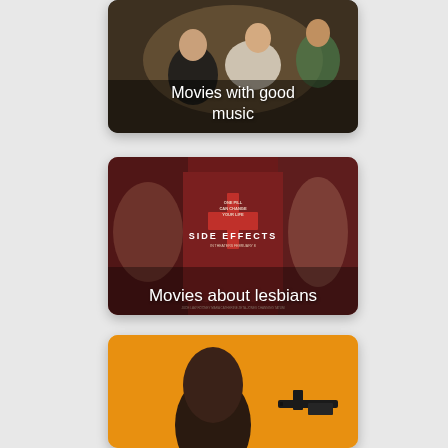[Figure (photo): Movie thumbnail card showing two people, labeled 'Movies with good music']
[Figure (photo): Movie thumbnail card showing 'Side Effects' movie poster with red cross on dark red background, labeled 'Movies about lesbians']
[Figure (photo): Partial movie thumbnail card with orange background showing a person's head and a gun, partially visible at bottom]